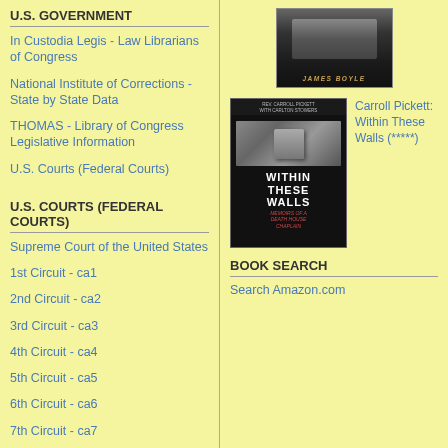U.S. GOVERNMENT
In Custodia Legis - Law Librarians of Congress
National Institute of Corrections - State by State Data
THOMAS - Library of Congress Legislative Information
U.S. Courts (Federal Courts)
U.S. COURTS (FEDERAL COURTS)
Supreme Court of the United States
1st Circuit - ca1
2nd Circuit - ca2
3rd Circuit - ca3
4th Circuit - ca4
5th Circuit - ca5
6th Circuit - ca6
7th Circuit - ca7
8th Circuit - ca8
[Figure (photo): Book cover - dark portrait photo with author name James Boyle at bottom]
[Figure (photo): Book cover - Within These Walls: Memoirs of a Death House Chaplain by Rev. Carroll Pickett with Carlton Stowers]
Carroll Pickett: Within These Walls (*****)
BOOK SEARCH
Search Amazon.com